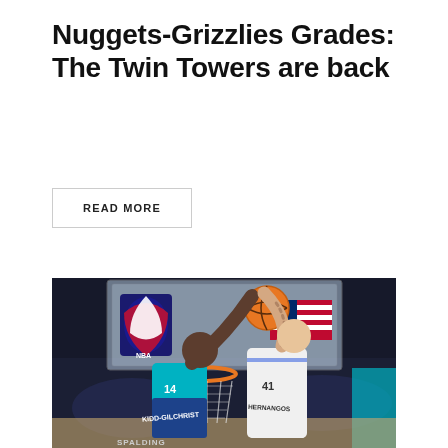Nuggets-Grizzlies Grades: The Twin Towers are back
READ MORE
[Figure (photo): NBA basketball game photo showing two players jumping for the ball near the basket. Player wearing Charlotte Hornets teal jersey numbered 14 (Kidd-Gilchrist) competing against player wearing white jersey numbered 41 (Hernangomez). Spalding backboard visible with NBA logo and American flag.]